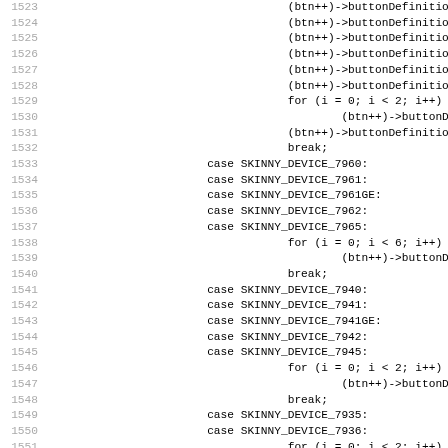Source code listing, lines 1523-1555, showing switch-case statements for SKINNY_DEVICE constants with button definitions and for loops.